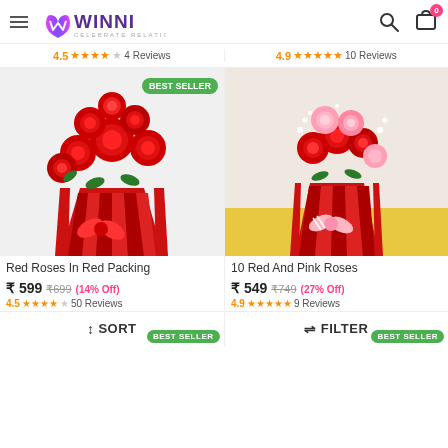WINNI - CELEBRATE RELATIONS
4.5 ★★★★☆ 4 Reviews | 4.9 ★★★★★ 10 Reviews
[Figure (photo): Red roses bouquet wrapped in red paper with a red bow, labeled BEST SELLER]
[Figure (photo): 10 Red and Pink roses bouquet wrapped in red paper with a pink bow]
Red Roses In Red Packing
₹ 599  ₹699  (14% Off)
4.5 ★★★★☆ 50 Reviews
10 Red And Pink Roses
₹ 549  ₹749  (27% Off)
4.9 ★★★★★ 9 Reviews
↑↓ SORT    BEST SELLER    ⇌ FILTER    BEST SELLER